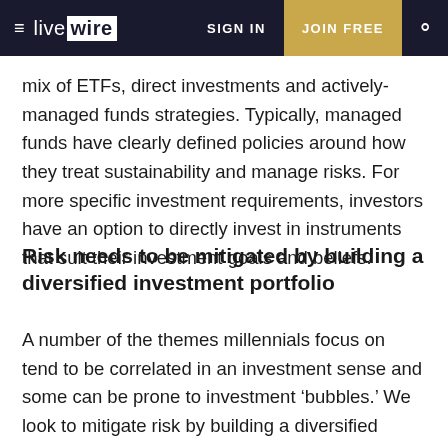live wire | SIGN IN | JOIN FREE
mix of ETFs, direct investments and actively-managed funds strategies. Typically, managed funds have clearly defined policies around how they treat sustainability and manage risks. For more specific investment requirements, investors have an option to directly invest in instruments that suit their investment goals and beliefs.
Risk needs to be mitigated by building a diversified investment portfolio
A number of the themes millennials focus on tend to be correlated in an investment sense and some can be prone to investment 'bubbles.' We look to mitigate risk by building a diversified portfolio that limits reliance on a particular outcome to deliver results. The